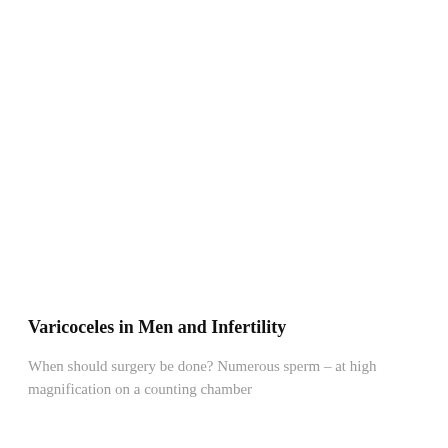Varicoceles in Men and Infertility
When should surgery be done? Numerous sperm – at high magnification on a counting chamber